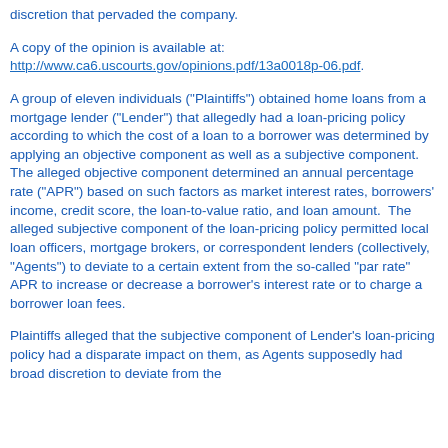discretion that pervaded the company.
A copy of the opinion is available at:
http://www.ca6.uscourts.gov/opinions.pdf/13a0018p-06.pdf.
A group of eleven individuals ("Plaintiffs") obtained home loans from a mortgage lender ("Lender") that allegedly had a loan-pricing policy according to which the cost of a loan to a borrower was determined by applying an objective component as well as a subjective component.  The alleged objective component determined an annual percentage rate ("APR") based on such factors as market interest rates, borrowers' income, credit score, the loan-to-value ratio, and loan amount.  The alleged subjective component of the loan-pricing policy permitted local loan officers, mortgage brokers, or correspondent lenders (collectively, "Agents") to deviate to a certain extent from the so-called "par rate" APR to increase or decrease a borrower's interest rate or to charge a borrower loan fees.
Plaintiffs alleged that the subjective component of Lender's loan-pricing policy had a disparate impact on them, as Agents supposedly had broad discretion to deviate from the